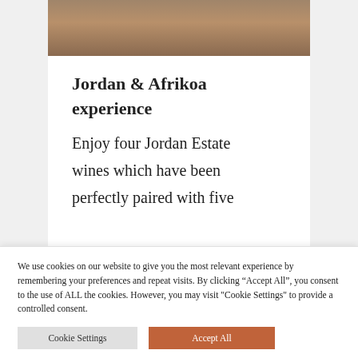[Figure (photo): Partial photo of Jordan & Afrikoa wine and chocolate pairing product, showing a decorative box on a wooden board]
Jordan & Afrikoa experience
Enjoy four Jordan Estate wines which have been perfectly paired with five
We use cookies on our website to give you the most relevant experience by remembering your preferences and repeat visits. By clicking “Accept All”, you consent to the use of ALL the cookies. However, you may visit "Cookie Settings" to provide a controlled consent.